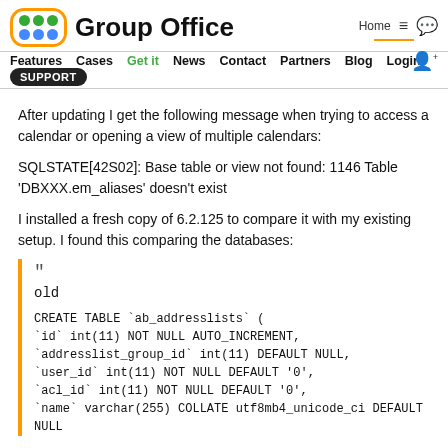[Figure (logo): Group Office logo with orange rounded square containing colored dots and bold text 'Group Office']
Features  Cases  Get it  News  Contact  Partners  Blog  Login  SUPPORT | Home  ≡  💬  👤+
After updating I get the following message when trying to access a calendar or opening a view of multiple calendars:
SQLSTATE[42S02]: Base table or view not found: 1146 Table 'DBXXX.em_aliases' doesn't exist
I installed a fresh copy of 6.2.125 to compare it with my existing setup. I found this comparing the databases:
"

old

CREATE TABLE `ab_addresslists` (
`id` int(11) NOT NULL AUTO_INCREMENT,
`addresslist_group_id` int(11) DEFAULT NULL,
`user_id` int(11) NOT NULL DEFAULT '0',
`acl_id` int(11) NOT NULL DEFAULT '0',
`name` varchar(255) COLLATE utf8mb4_unicode_ci DEFAULT NULL